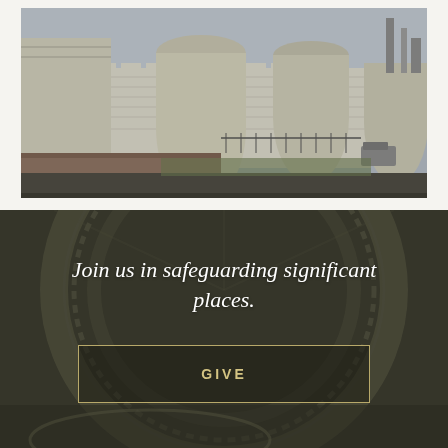[Figure (photo): Photograph of a historic monastery or castle with thick white stone walls and cylindrical towers, photographed from the outside along a street. Industrial structures visible in the background on the right.]
[Figure (photo): Dark background image of an ornate architectural detail — an arched decorative element with intricate carved patterns, used as a backdrop for the call-to-action text overlay.]
Join us in safeguarding significant places.
GIVE